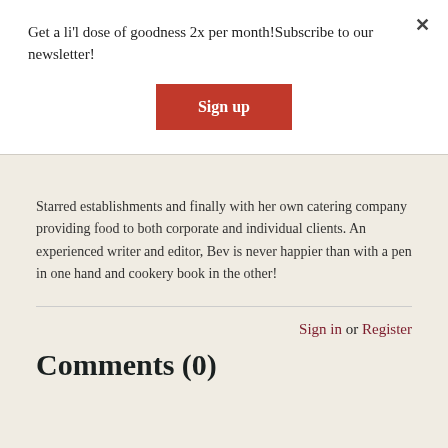Get a li'l dose of goodness 2x per month!Subscribe to our newsletter!
Sign up
Starred establishments and finally with her own catering company providing food to both corporate and individual clients. An experienced writer and editor, Bev is never happier than with a pen in one hand and cookery book in the other!
Sign in or Register
Comments (0)